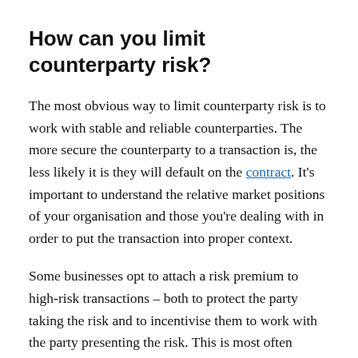How can you limit counterparty risk?
The most obvious way to limit counterparty risk is to work with stable and reliable counterparties. The more secure the counterparty to a transaction is, the less likely it is they will default on the contract. It’s important to understand the relative market positions of your organisation and those you’re dealing with in order to put the transaction into proper context.
Some businesses opt to attach a risk premium to high-risk transactions – both to protect the party taking the risk and to incentivise them to work with the party presenting the risk. This is most often